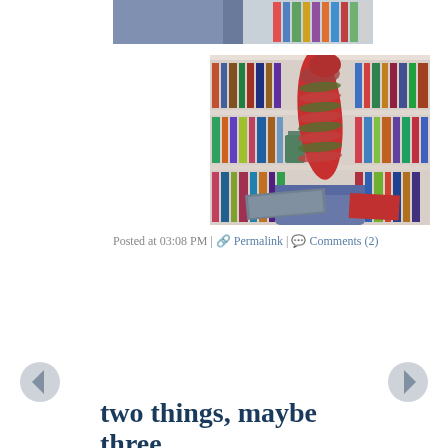[Figure (photo): Partial view of a person's leg in jeans with a colorful knitted sock, close-up cropped at top]
[Figure (photo): Person's foot/leg wearing a red and green striped knitted sock, propped up in front of a bookshelf filled with books]
Posted at 03:08 PM | 🔗 Permalink | 💬 Comments (2)
[Figure (other): Left navigation arrow]
[Figure (other): Right navigation arrow]
two things, maybe three